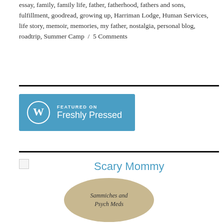essay, family, family life, father, fatherhood, fathers and sons, fulfillment, goodread, growing up, Harriman Lodge, Human Services, life story, memoir, memories, my father, nostalgia, personal blog, roadtrip, Summer Camp / 5 Comments
[Figure (logo): WordPress 'Featured on Freshly Pressed' blue badge with WordPress logo]
[Figure (other): Scary Mommy section header with broken image icon and food photo showing 'Sammiches and Psych Meds' text on a sandwich]